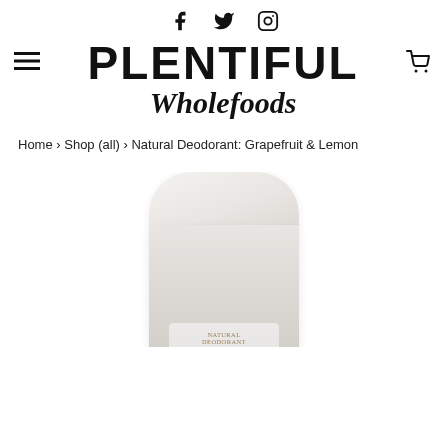f  🐦  📷  [Social icons: Facebook, Twitter, Instagram]
[Figure (logo): Plentiful Wholefoods logo with hamburger menu icon on left and cart icon on right. PLENTIFUL in large bold black uppercase letters, Wholefoods in cursive script below.]
Home › Shop (all) › Natural Deodorant: Grapefruit & Lemon
[Figure (photo): Photo of a white cylindrical natural deodorant stick container, partially cropped at the bottom of the page.]